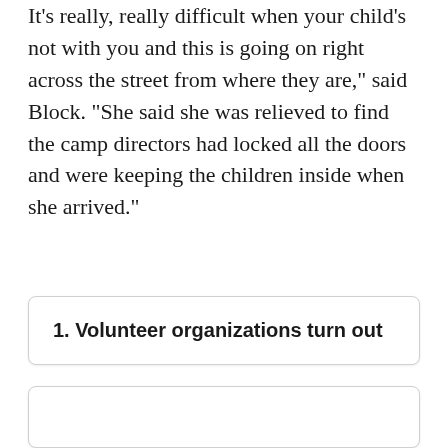It's really, really difficult when your child's not with you and this is going on right across the street from where they are," said Block. “She said she was relieved to find the camp directors had locked all the doors and were keeping the children inside when she arrived.”
1. Volunteer organizations turn out